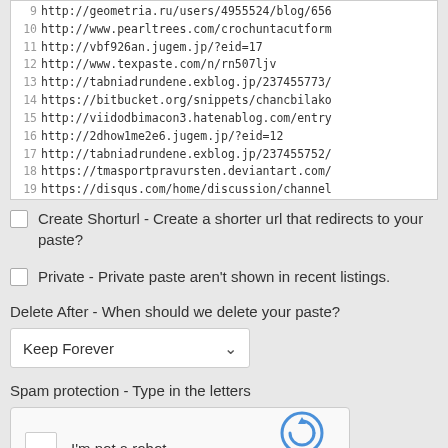[Figure (screenshot): Code/text box showing a numbered list of URLs from line 9 to 23]
Create Shorturl - Create a shorter url that redirects to your paste?
Private - Private paste aren't shown in recent listings.
Delete After - When should we delete your paste?
Keep Forever
Spam protection - Type in the letters
[Figure (screenshot): reCAPTCHA widget with checkbox 'I'm not a robot' and reCAPTCHA logo with Privacy·Terms links]